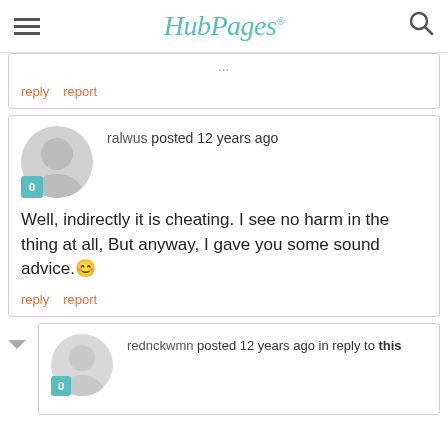HubPages
reply   report
ralwus posted 12 years ago
Well, indirectly it is cheating. I see no harm in the thing at all, But anyway, I gave you some sound advice. 🙂
reply   report
rednckwmn posted 12 years ago in reply to this